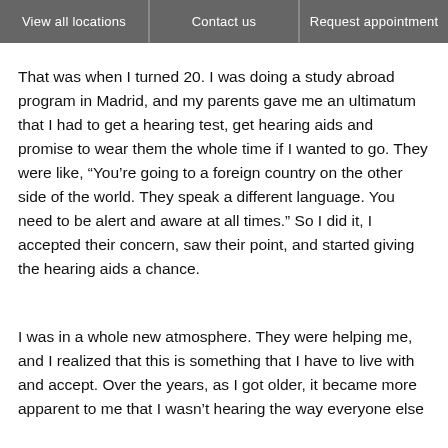View all locations | Contact us | Request appointment
That was when I turned 20. I was doing a study abroad program in Madrid, and my parents gave me an ultimatum that I had to get a hearing test, get hearing aids and promise to wear them the whole time if I wanted to go. They were like, “You’re going to a foreign country on the other side of the world. They speak a different language. You need to be alert and aware at all times.” So I did it, I accepted their concern, saw their point, and started giving the hearing aids a chance.
I was in a whole new atmosphere. They were helping me, and I realized that this is something that I have to live with and accept. Over the years, as I got older, it became more apparent to me that I wasn’t hearing the way everyone else